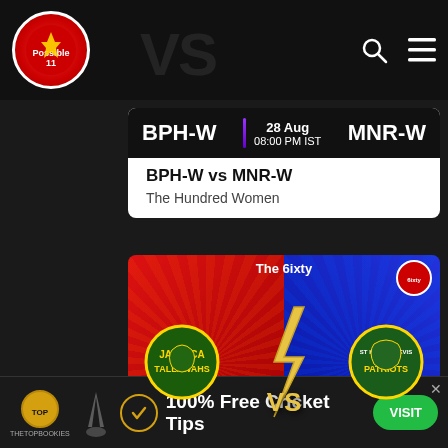[Figure (screenshot): Navigation bar with Possible11 logo (red circle with trophy figure), search icon, and hamburger menu icon on dark background]
[Figure (screenshot): BPH-W vs MNR-W match card showing team names on dark banner with date 28 Aug 08:00 PM IST, and white section below with match title and competition name The Hundred Women]
BPH-W vs MNR-W
The Hundred Women
[Figure (screenshot): The 6ixty cricket match card: Jamaica Tallawas (JAM) vs St Kitts and Nevis Patriots (SKN) on 28 Aug. Red background on left, blue on right, VS lightning bolt in center, team logos visible]
[Figure (screenshot): Advertisement banner: TheTopBookies logo, 100% Free Cricket Tips text, VISIT green button, close X button]